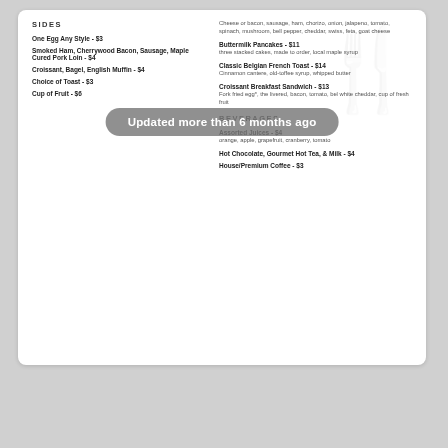SIDES
One Egg Any Style - $3
Smoked Ham, Cherrywood Bacon, Sausage, Maple Cured Pork Loin - $4
Croissant, Bagel, English Muffin - $4
Choice of Toast - $3
Cup of Fruit - $6
Buttermilk Pancakes - $11
three stacked cakes, made to order, local maple syrup
Classic Belgian French Toast - $14
Cinnamon cantere, old-toffee syrup, whipped butter
Croissant Breakfast Sandwich - $13
Fork Fried egg*, the livered, bacon, tomato, bel white cheddar, cup of fresh fruit
BEVERAGES
Assorted Juices - $4
orange, apple, grapefruit, cranberry, tomato
Hot Chocolate, Gourmet Hot Tea, & Milk - $4
House/Premium Coffee - $3
Updated more than 6 months ago